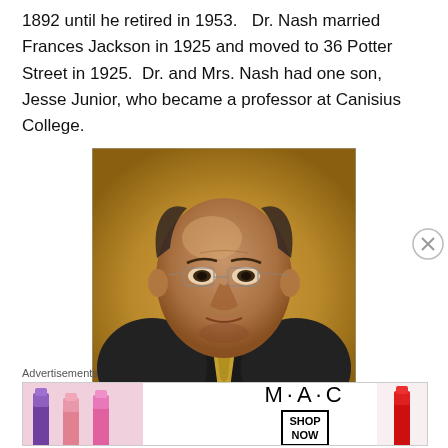1892 until he retired in 1953.   Dr. Nash married Frances Jackson in 1925 and moved to 36 Potter Street in 1925.  Dr. and Mrs. Nash had one son, Jesse Junior, who became a professor at Canisius College.
[Figure (photo): Oil portrait painting of Dr. Nash, a bald man wearing glasses and a dark suit with a yellow tie, depicted from the shoulders up against a warm golden-brown background.]
Advertisements
[Figure (photo): MAC Cosmetics advertisement banner showing colorful lipsticks on the left, the MAC logo in the center, and a 'SHOP NOW' button box with a red lipstick on the right.]